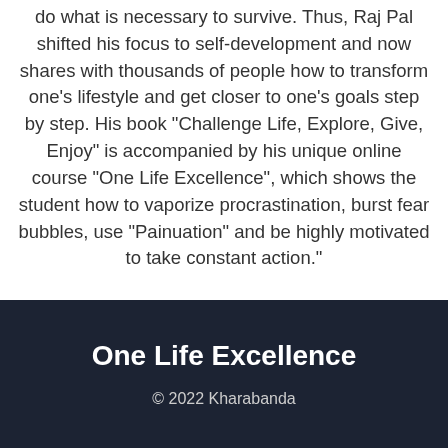do what is necessary to survive. Thus, Raj Pal shifted his focus to self-development and now shares with thousands of people how to transform one's lifestyle and get closer to one's goals step by step. His book "Challenge Life, Explore, Give, Enjoy" is accompanied by his unique online course "One Life Excellence", which shows the student how to vaporize procrastination, burst fear bubbles, use "Painuation" and be highly motivated to take constant action."
One Life Excellence
© 2022 Kharabanda